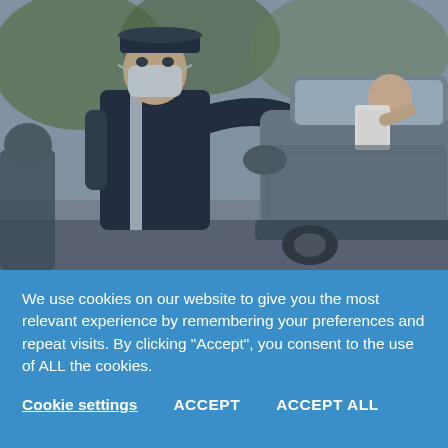[Figure (photo): A police officer wearing a face mask and dark uniform checks documents from a driver sitting inside a silver car at what appears to be a checkpoint. The officer is reaching toward the car window, and the driver is holding up papers.]
We use cookies on our website to give you the most relevant experience by remembering your preferences and repeat visits. By clicking “Accept”, you consent to the use of ALL the cookies.
Cookie settings   ACCEPT   ACCEPT ALL